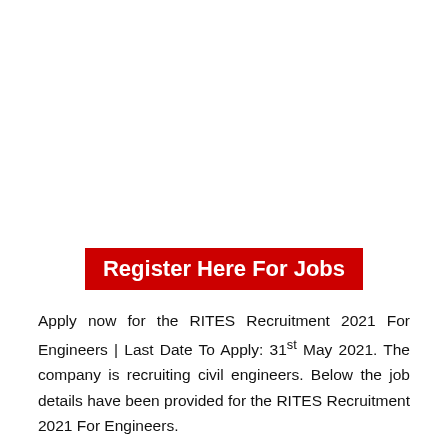Register Here For Jobs
Apply now for the RITES Recruitment 2021 For Engineers | Last Date To Apply: 31st May 2021. The company is recruiting civil engineers. Below the job details have been provided for the RITES Recruitment 2021 For Engineers.